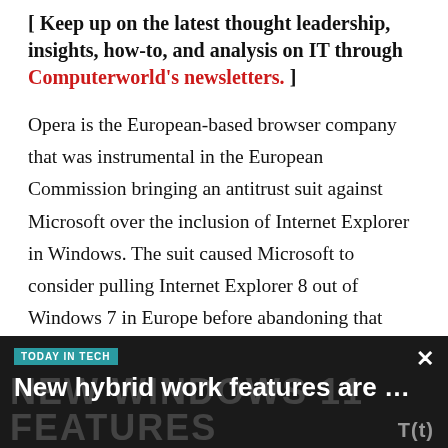[ Keep up on the latest thought leadership, insights, how-to, and analysis on IT through Computerworld's newsletters. ]
Opera is the European-based browser company that was instrumental in the European Commission bringing an antitrust suit against Microsoft over the inclusion of Internet Explorer in Windows. The suit caused Microsoft to consider pulling Internet Explorer 8 out of Windows 7 in Europe before abandoning that plan and instead deciding to offer a choice of browsers in the OS there.
[Figure (screenshot): Advertisement banner: 'TODAY IN TECH' label in teal, headline 'New hybrid work features are …', with background text 'NEW WINDOWS 11 FEATURES' partially visible and a T(t) logo. Dark background with close (×) button.]